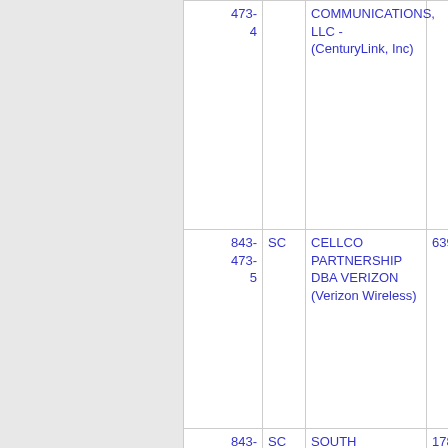| Number | State | Name | ID |  |
| --- | --- | --- | --- | --- |
| 473-
    4 |  | COMMUNICATIONS, LLC - (CenturyLink, Inc) |  |  |
| 843-
473-
    5 | SC | CELLCO PARTNERSHIP DBA VERIZON (Verizon Wireless) | 6398 |  |
| 843-
473- | SC | SOUTH CAROLINA NET, INC - SC | 1784 |  |